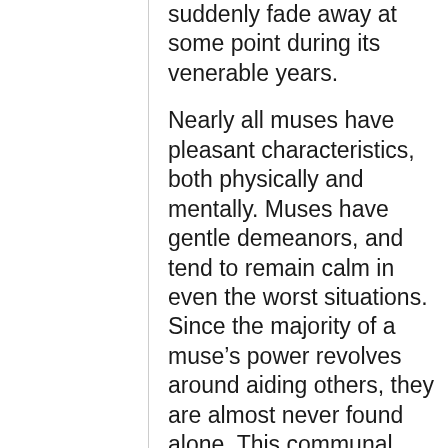suddenly fade away at some point during its venerable years.
Nearly all muses have pleasant characteristics, both physically and mentally. Muses have gentle demeanors, and tend to remain calm in even the worst situations. Since the majority of a muse’s power revolves around aiding others, they are almost never found alone. This communal spirit supplants any negative personality traits. Few would find a muse annoying, self-serving, impolite, or ill-mannered.
Relations: Muses get along well with all races, but are especially close with elves